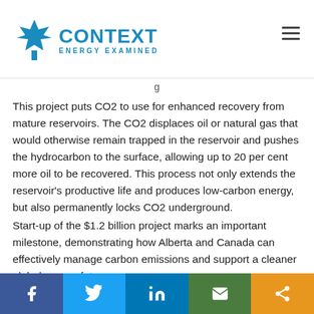Context Energy Examined
This project puts CO2 to use for enhanced recovery from mature reservoirs. The CO2 displaces oil or natural gas that would otherwise remain trapped in the reservoir and pushes the hydrocarbon to the surface, allowing up to 20 per cent more oil to be recovered. This process not only extends the reservoir's productive life and produces low-carbon energy, but also permanently locks CO2 underground.
Start-up of the $1.2 billion project marks an important milestone, demonstrating how Alberta and Canada can effectively manage carbon emissions and support a cleaner global energy future.
Social share bar: Facebook, Twitter, LinkedIn, Email, Share